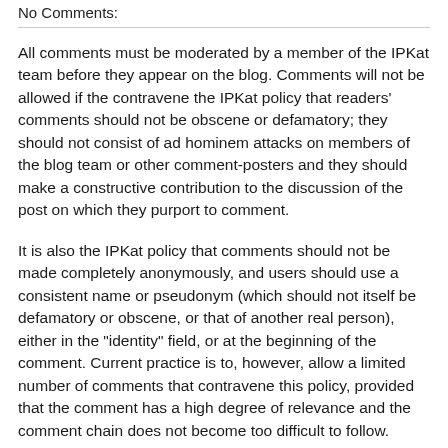No Comments:
All comments must be moderated by a member of the IPKat team before they appear on the blog. Comments will not be allowed if the contravene the IPKat policy that readers' comments should not be obscene or defamatory; they should not consist of ad hominem attacks on members of the blog team or other comment-posters and they should make a constructive contribution to the discussion of the post on which they purport to comment.
It is also the IPKat policy that comments should not be made completely anonymously, and users should use a consistent name or pseudonym (which should not itself be defamatory or obscene, or that of another real person), either in the "identity" field, or at the beginning of the comment. Current practice is to, however, allow a limited number of comments that contravene this policy, provided that the comment has a high degree of relevance and the comment chain does not become too difficult to follow.
Learn more here: http://ipkitten.blogspot.com/p/want-to-complain.html